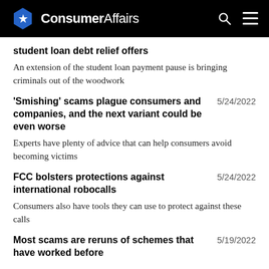ConsumerAffairs
student loan debt relief offers
An extension of the student loan payment pause is bringing criminals out of the woodwork
'Smishing' scams plague consumers and companies, and the next variant could be even worse
5/24/2022
Experts have plenty of advice that can help consumers avoid becoming victims
FCC bolsters protections against international robocalls
5/24/2022
Consumers also have tools they can use to protect against these calls
Most scams are reruns of schemes that have worked before
5/19/2022